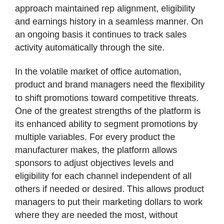approach maintained rep alignment, eligibility and earnings history in a seamless manner. On an ongoing basis it continues to track sales activity automatically through the site.
In the volatile market of office automation, product and brand managers need the flexibility to shift promotions toward competitive threats. One of the greatest strengths of the platform is its enhanced ability to segment promotions by multiple variables. For every product the manufacturer makes, the platform allows sponsors to adjust objectives levels and eligibility for each channel independent of all others if needed or desired. This allows product managers to put their marketing dollars to work where they are needed the most, without incurring additional programing costs or wasting precious time.